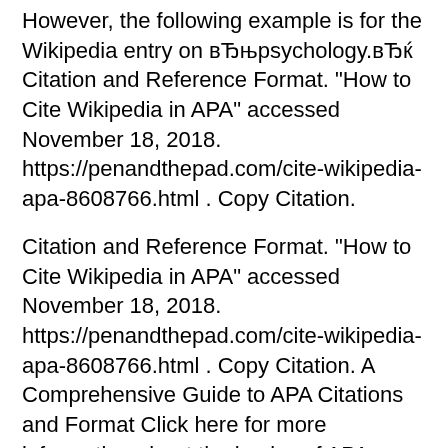However, the following example is for the Wikipedia entry on вЂњpsychology.вЂќ Citation and Reference Format. "How to Cite Wikipedia in APA" accessed November 18, 2018. https://penandthepad.com/cite-wikipedia-apa-8608766.html . Copy Citation.
Citation and Reference Format. "How to Cite Wikipedia in APA" accessed November 18, 2018. https://penandthepad.com/cite-wikipedia-apa-8608766.html . Copy Citation. A Comprehensive Guide to APA Citations and Format Click here for more information about the basics of APA. Citation Format for Pen and Paper...